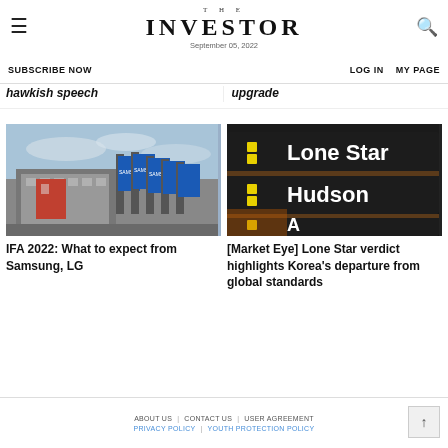THE INVESTOR | September 05, 2022
SUBSCRIBE NOW | LOG IN | MY PAGE
hawkish speech
upgrade
[Figure (photo): IFA 2022 venue with Samsung banners and flags outside]
IFA 2022: What to expect from Samsung, LG
[Figure (photo): Close-up of departure board showing Lone Star and Hudson text]
[Market Eye] Lone Star verdict highlights Korea's departure from global standards
ABOUT US | CONTACT US | USER AGREEMENT | PRIVACY POLICY | YOUTH PROTECTION POLICY